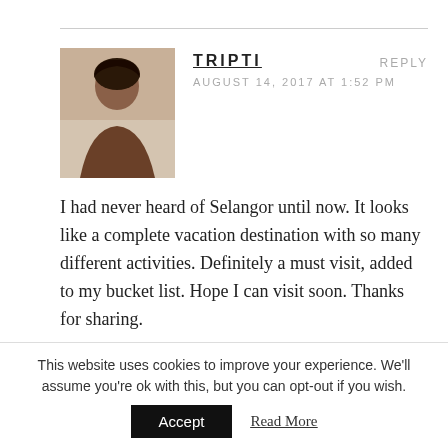TRIPTI
AUGUST 14, 2017 AT 1:52 PM
REPLY
I had never heard of Selangor until now. It looks like a complete vacation destination with so many different activities. Definitely a must visit, added to my bucket list. Hope I can visit soon. Thanks for sharing.
ARCHANA SINGH
AUGUST 26, 2017 AT 5:54 PM
REPLY
This website uses cookies to improve your experience. We'll assume you're ok with this, but you can opt-out if you wish.
Accept
Read More